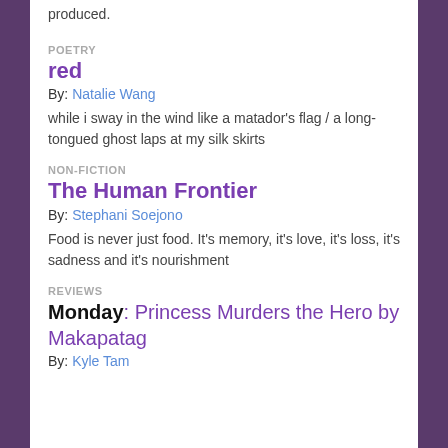produced.
POETRY
red
By: Natalie Wang
while i sway in the wind like a matador's flag / a long-tongued ghost laps at my silk skirts
NON-FICTION
The Human Frontier
By: Stephani Soejono
Food is never just food. It's memory, it's love, it's loss, it's sadness and it's nourishment
REVIEWS
Monday: Princess Murders the Hero by Makapatag
By: Kyle Tam